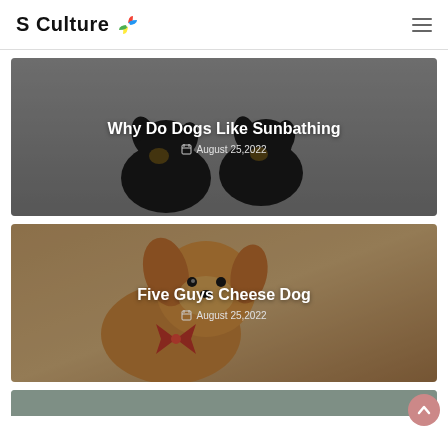S Culture
[Figure (photo): Two dachshund puppies sitting against a gray background, used as article card image for 'Why Do Dogs Like Sunbathing']
Why Do Dogs Like Sunbathing
August 25,2022
[Figure (photo): Golden/tan puppy with a red bow against a beige background, used as article card image for 'Five Guys Cheese Dog']
Five Guys Cheese Dog
August 25,2022
[Figure (photo): Partial third article card, green-gray background, cropped at bottom of page]